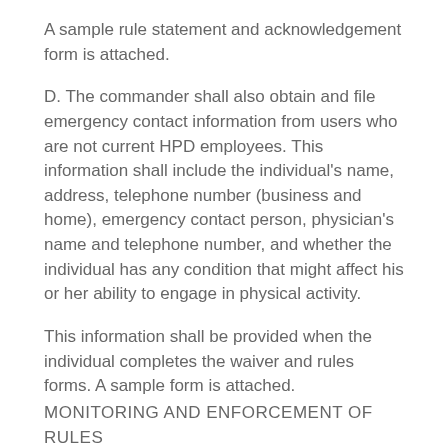A sample rule statement and acknowledgement form is attached.
D. The commander shall also obtain and file emergency contact information from users who are not current HPD employees. This information shall include the individual's name, address, telephone number (business and home), emergency contact person, physician's name and telephone number, and whether the individual has any condition that might affect his or her ability to engage in physical activity.
This information shall be provided when the individual completes the waiver and rules forms. A sample form is attached.
MONITORING AND ENFORCEMENT OF RULES
The commander (or a designee) responsible